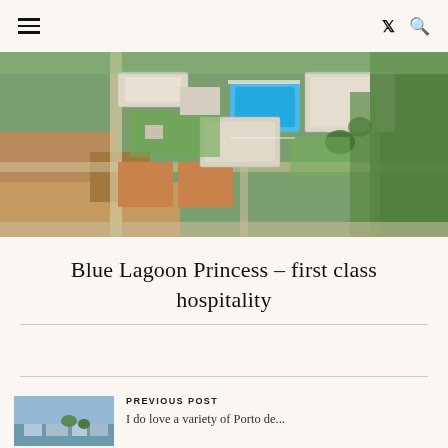≡  𝕏 🔍
[Figure (photo): Aerial view of a hotel/resort complex with white buildings, a blue swimming pool, green lawns and trees, and red clay tennis courts. Roads and fields visible around the property.]
Blue Lagoon Princess – first class hospitality
PREVIOUS POST
[Figure (photo): Small thumbnail image of a city or monument scene, partially visible at the bottom of the page.]
I do love a variety of Porto de...